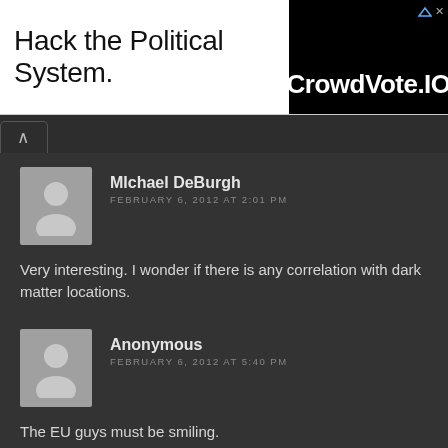[Figure (screenshot): Banner ad: 'Hack the Political System.' text on left, CrowdVote.IO logo on black background on right]
Michael DeBurgh
FEBRUARY 6, 2012 AT 2:01 PM
Very interesting. I wonder if there is any correlation with dark matter locations.
Anonymous
FEBRUARY 6, 2012 AT 5:40 PM
The EU guys must be smiling.